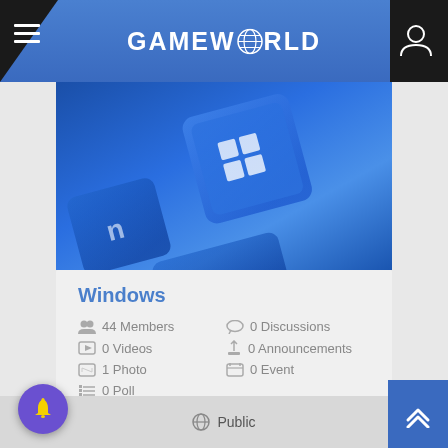GAMEWORLD
[Figure (photo): Close-up photo of blue keyboard keys with Windows logo key highlighted]
Windows
44 Members
0 Discussions
0 Videos
0 Announcements
1 Photo
0 Event
0 Poll
Public